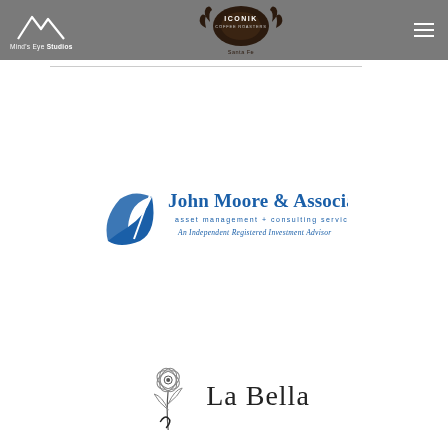Mind's Eye Studios | Iconik Coffee Roasters Santa Fe | Navigation menu
[Figure (logo): Mind's Eye Studios logo - mountain peaks outline with text below]
[Figure (logo): Iconik Coffee Roasters Santa Fe logo - ornate dark crest/emblem with text]
[Figure (logo): John Moore & Associates, inc. logo - blue swoosh/leaf icon with company name, tagline 'asset management + consulting services', 'An Independent Registered Investment Advisor']
[Figure (logo): La Bella logo - decorative floral illustration with cursive 'La Bella' text]